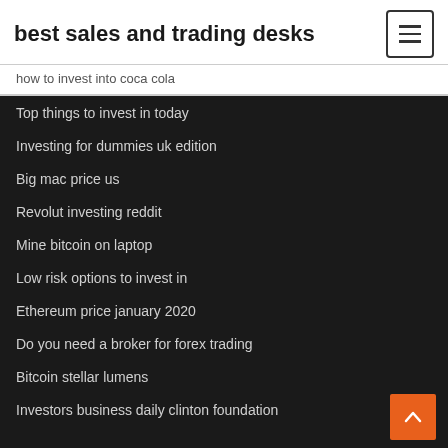best sales and trading desks
how to invest into coca cola
Top things to invest in today
Investing for dummies uk edition
Big mac price us
Revolut investing reddit
Mine bitcoin on laptop
Low risk options to invest in
Ethereum price january 2020
Do you need a broker for forex trading
Bitcoin stellar lumens
Investors business daily clinton foundation